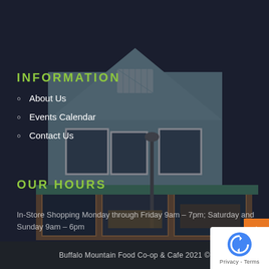[Figure (photo): Exterior photo of Buffalo Mountain Food Co-op & Cafe store building at night, a light blue two-story building with large display windows and storefront signage.]
INFORMATION
About Us
Events Calendar
Contact Us
OUR HOURS
In-Store Shopping Monday through Friday 9am – 7pm; Saturday and Sunday 9am – 6pm
Buffalo Mountain Food Co-op & Cafe 2021 ©